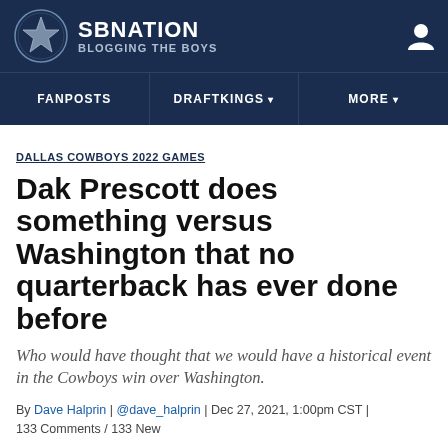SB NATION — BLOGGING THE BOYS
FANPOSTS | DRAFTKINGS | MORE
DALLAS COWBOYS 2022 GAMES
Dak Prescott does something versus Washington that no quarterback has ever done before
Who would have thought that we would have a historical event in the Cowboys win over Washington.
By Dave Halprin | @dave_halprin | Dec 27, 2021, 1:00pm CST | 133 Comments / 133 New